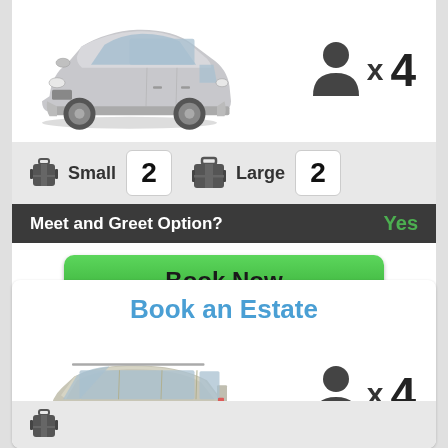[Figure (photo): Silver Toyota Avensis sedan car photo]
x 4 (person/passenger icon)
Small 2  Large 2 (luggage icons and counts)
Meet and Greet Option? Yes
Book Now
Book an Estate
[Figure (photo): Silver VW Passat estate/wagon car photo]
x 4 (person/passenger icon)